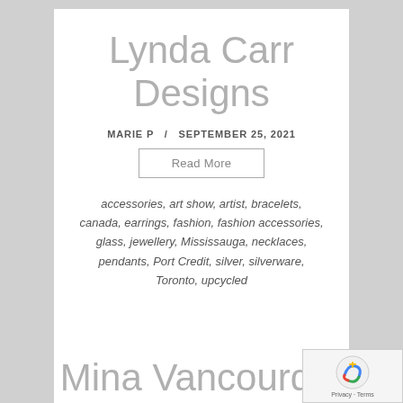Lynda Carr Designs
MARIE P  /  SEPTEMBER 25, 2021
Read More
accessories, art show, artist, bracelets, canada, earrings, fashion, fashion accessories, glass, jewellery, Mississauga, necklaces, pendants, Port Credit, silver, silverware, Toronto, upcycled
Mina Vancourd...